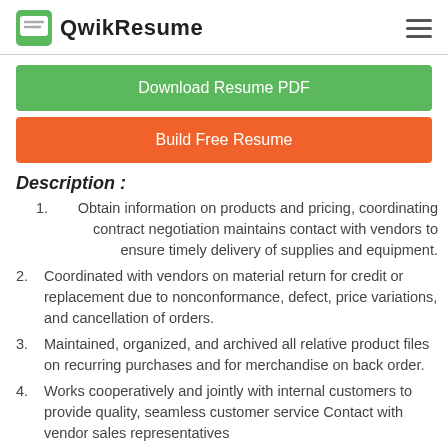QwikResume
Download Resume PDF
Build Free Resume
Description :
Obtain information on products and pricing, coordinating contract negotiation maintains contact with vendors to ensure timely delivery of supplies and equipment.
Coordinated with vendors on material return for credit or replacement due to nonconformance, defect, price variations, and cancellation of orders.
Maintained, organized, and archived all relative product files on recurring purchases and for merchandise on back order.
Works cooperatively and jointly with internal customers to provide quality, seamless customer service Contact with vendor sales representatives